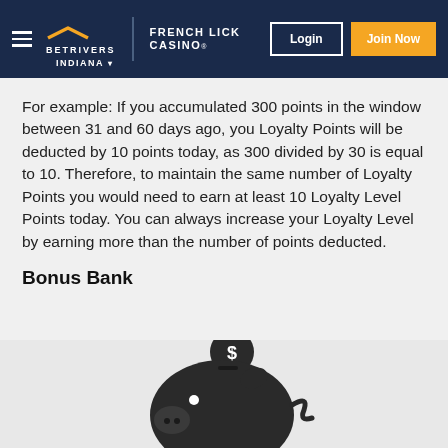BetRivers | French Lick Casino® Indiana — Login | Join Now
For example: If you accumulated 300 points in the window between 31 and 60 days ago, you Loyalty Points will be deducted by 10 points today, as 300 divided by 30 is equal to 10. Therefore, to maintain the same number of Loyalty Points you would need to earn at least 10 Loyalty Level Points today. You can always increase your Loyalty Level by earning more than the number of points deducted.
Bonus Bank
[Figure (illustration): Dark silhouette of a piggy bank with a coin slot on top showing a dollar sign coin being inserted]